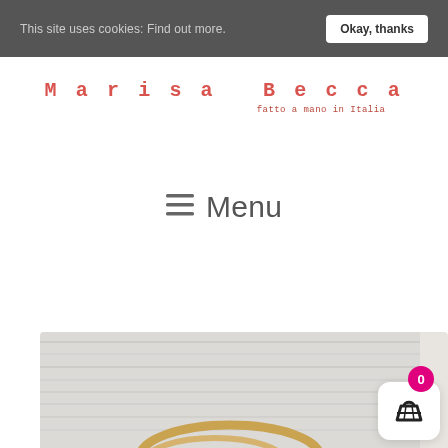This site uses cookies: Find out more. | Okay, thanks
Marisa Becca
fatto a mano in Italia
≡ Menu
[Figure (photo): Close-up photo of gold rings on a light grey wooden surface, partially visible at the bottom of the page. A shopping cart widget with a magenta badge showing 0 is overlaid in the bottom right.]